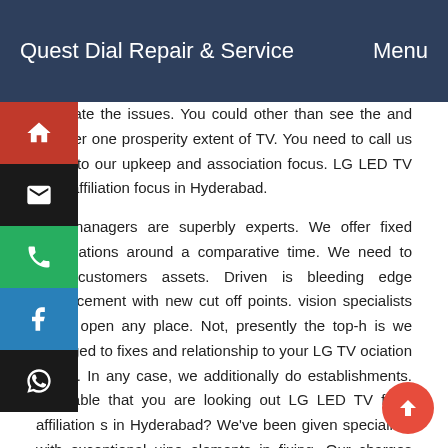Quest Dial Repair & Service   Menu
separate the issues. You could other than see the and number one prosperity extent of TV. You need to call us or go to our upkeep and association focus. LG LED TV fixes affiliation focus in Hyderabad. Our managers are superbly experts. We offer fixed associations around a comparative time. We need to give customers assets. Driven is bleeding edge advancement with new cut off points. vision specialists aren't open any place. Not, presently the top-h is we arranged to fixes and relationship to your LG TV ociation model. In any case, we additionally do establishments. certifiable that you are looking out LG LED TV fixes affiliation s in Hyderabad? We've been given specialists with exceptional uine elements in fixing. Our charges are moderate and give recedented extra parts. We are working all through every day/365 days. LG LED TV fixes to focus in Hyderabad.